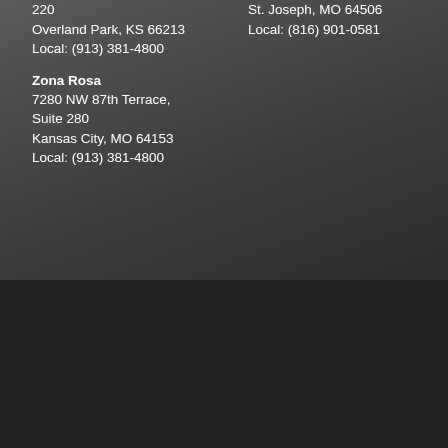220
Overland Park, KS 66213
Local: (913) 381-4800
St. Joseph, MO 64506
Local: (816) 901-0581
Zona Rosa
7280 NW 87th Terrace,
Suite 280
Kansas City, MO 64153
Local: (913) 381-4800
Securities and Advisory Services offered through Client One Securities, LLC Member FINRA/SIPC, and an Investment Advisor Advisory Services Offered Through CreativeOne Securities, LLC and ChangePath, LLC. Affinity Asset Management, LLC, CreativeOne Wealth, LLC and CreativeOne Securities, LLC are separate entities.